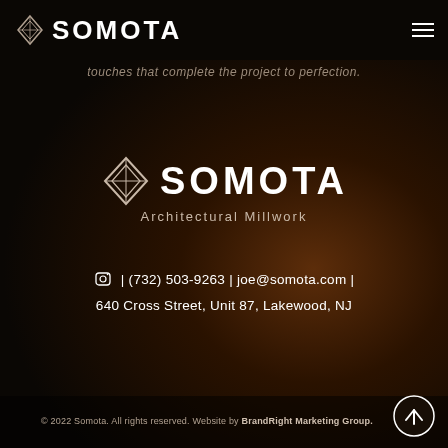SOMOTA
touches that complete the project to perfection.
[Figure (logo): Somota Architectural Millwork logo centered on dark background, with diamond facet icon and large text SOMOTA, tagline Architectural Millwork below]
| (732) 503-9263 | joe@somota.com | 640 Cross Street, Unit 87, Lakewood, NJ
© 2022 Somota. All rights reserved. Website by BrandRight Marketing Group.